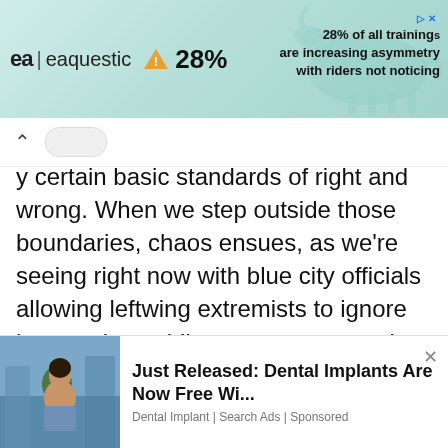[Figure (screenshot): Top advertisement banner for 'eaquestic' equestrian app showing logo, warning triangle with 28% statistic, and text '28% of all trainings are increasing asymmetry with riders not noticing' over a teal background with horse silhouette]
[Figure (screenshot): Scroll up chevron control and scroll indicator bar on white background]
y certain basic standards of right and wrong. When we step outside those boundaries, chaos ensues, as we're seeing right now with blue city officials allowing leftwing extremists to ignore laws, seize public property or smash monuments and statues, just because they feel like it. That can leave a bad taste in your mouth, and I'm not still referring to Hannibal Lecter. I like to
[Figure (screenshot): Bottom advertisement banner showing a woman's photo on the left and text 'Just Released: Dental Implants Are Now Free Wi...' with subtitle 'Dental Implant | Search Ads | Sponsored']